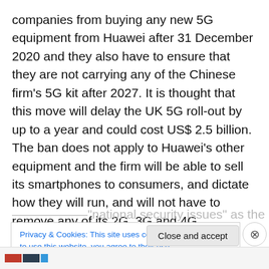companies from buying any new 5G equipment from Huawei after 31 December 2020 and they also have to ensure that they are not carrying any of the Chinese firm's 5G kit after 2027. It is thought that this move will delay the UK 5G roll-out by up to a year and could cost US$ 2.5 billion. The ban does not apply to Huawei's other equipment and the firm will be able to sell its smartphones to consumers, and dictate how they will run, and will not have to remove any of its 2G, 3G and 4G equipment. The UK has followed in the steps of the US, citing that old
Privacy & Cookies: This site uses cookies. By continuing to use this website, you agree to their use.
To find out more, including how to control cookies, see here: Cookie Policy
Close and accept